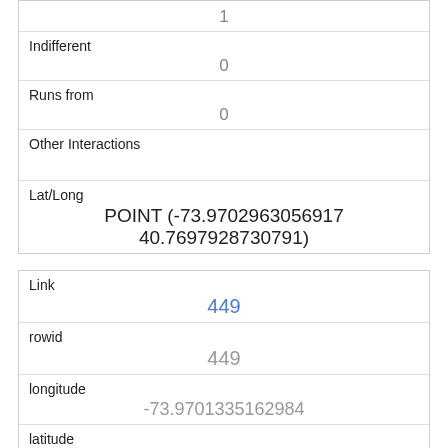| 1 |
| Indifferent | 0 |
| Runs from | 0 |
| Other Interactions |  |
| Lat/Long | POINT (-73.9702963056917 40.7697928730791) |
| Link | 449 |
| rowid | 449 |
| longitude | -73.9701335162984 |
| latitude | 40.772205101135704 |
| Unique Squirrel ID | 10G-AM-1006-10 |
| Hectare |  |